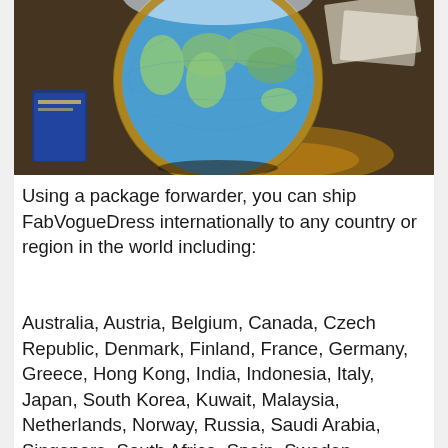[Figure (photo): A decorative globe sitting on a wooden table surface, with a blue passport-like booklet visible on the left and papers/items in the background. The globe shows detailed world map coloring.]
Using a package forwarder, you can ship FabVogueDress internationally to any country or region in the world including:
Australia, Austria, Belgium, Canada, Czech Republic, Denmark, Finland, France, Germany, Greece, Hong Kong, India, Indonesia, Italy, Japan, South Korea, Kuwait, Malaysia, Netherlands, Norway, Russia, Saudi Arabia, Singapore, South Africa, Spain, Sweden, Switzerland, Taiwan, Thailand, United Arab Emirates, United Kingdom (Britain / England / UK), Africa, Asia, Caribbean, Central America,